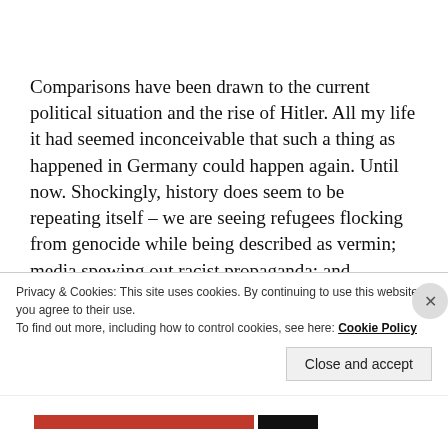Comparisons have been drawn to the current political situation and the rise of Hitler. All my life it had seemed inconceivable that such a thing as happened in Germany could happen again. Until now. Shockingly, history does seem to be repeating itself – we are seeing refugees flocking from genocide while being described as vermin; media spewing out racist propaganda; and demagogues full of hatred being in
Privacy & Cookies: This site uses cookies. By continuing to use this website, you agree to their use.
To find out more, including how to control cookies, see here: Cookie Policy